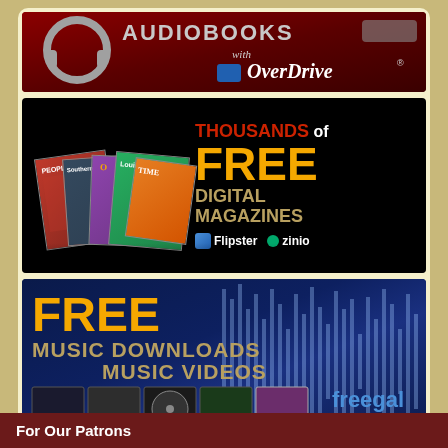[Figure (illustration): OverDrive audiobooks banner: dark red background with 'AUDIOBOOKS with OverDrive' text and logo]
[Figure (illustration): Thousands of FREE Digital Magazines banner: black background with magazine covers on left, text 'THOUSANDS of FREE DIGITAL MAGAZINES' with Flipster and Zinio logos]
[Figure (illustration): Freegal Music banner: dark blue background with waveform, 'FREE MUSIC DOWNLOADS MUSIC VIDEOS' text, album thumbnails, and Freegal logo with text 'new hit MP3s added weekly!']
For Our Patrons